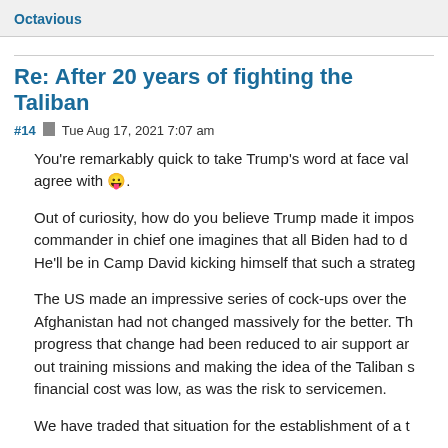Octavious
Re: After 20 years of fighting the Taliban
#14  Tue Aug 17, 2021 7:07 am
You're remarkably quick to take Trump's word at face val… agree with 😛.
Out of curiosity, how do you believe Trump made it impos… commander in chief one imagines that all Biden had to d… He'll be in Camp David kicking himself that such a strateg…
The US made an impressive series of cock-ups over the … Afghanistan had not changed massively for the better. Th… progress that change had been reduced to air support ar… out training missions and making the idea of the Taliban s… financial cost was low, as was the risk to servicemen.
We have traded that situation for the establishment of a t…